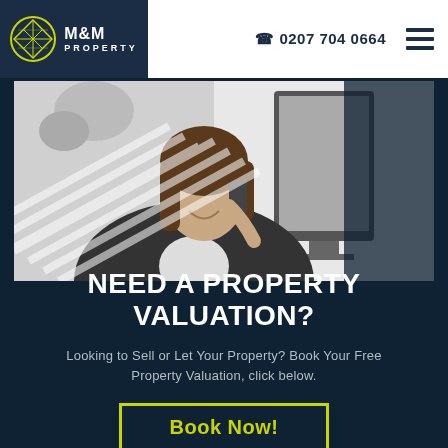[Figure (logo): M&M Property logo with geometric diamond shape in olive/yellow on dark navy background, with text M&M PROPERTY]
☎ 0207 704 0664
[Figure (photo): Black and white photo of a smiling professional woman in a blazer talking on a phone, seated at a desk with a computer monitor]
NEED A PROPERTY VALUATION?
Looking to Sell or Let Your Property? Book Your Free Property Valuation, click below.
Book Now!